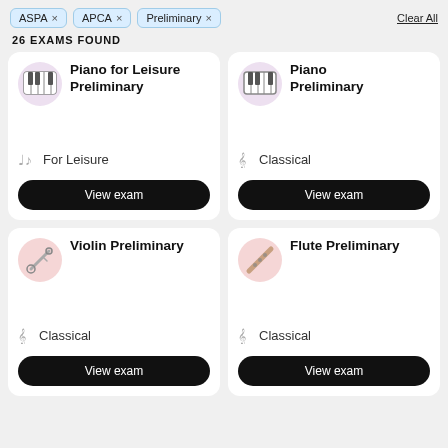ASPA × APCA × Preliminary × Clear All
26 EXAMS FOUND
[Figure (screenshot): Card: Piano for Leisure Preliminary, For Leisure, View exam button]
[Figure (screenshot): Card: Piano Preliminary, Classical, View exam button]
[Figure (screenshot): Card: Violin Preliminary, Classical, View exam button]
[Figure (screenshot): Card: Flute Preliminary, Classical, View exam button]